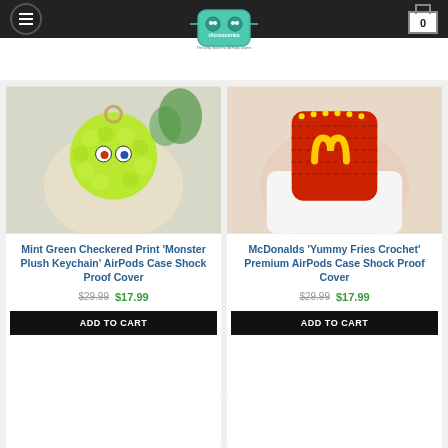[Figure (logo): iAccessories store logo with AirPods case illustration]
[Figure (photo): Mint green fuzzy monster plush keychain AirPods case held in hand]
Mint Green Checkered Print 'Monster Plush Keychain' AirPods Case Shock Proof Cover
$29.99  $17.99
ADD TO CART
[Figure (photo): Red McDonalds crochet AirPods case with golden arches logo held in hand]
McDonalds 'Yummy Fries Crochet' Premium AirPods Case Shock Proof Cover
$29.99  $17.99
ADD TO CART